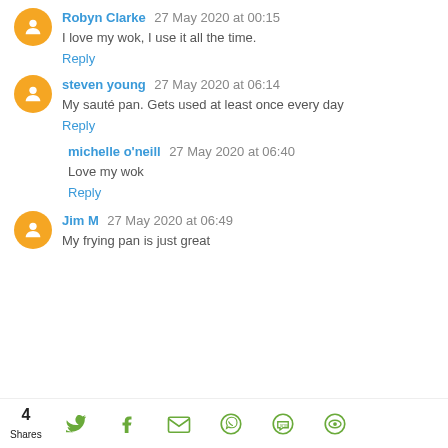Robyn Clarke 27 May 2020 at 00:15
I love my wok, I use it all the time.
Reply
steven young 27 May 2020 at 06:14
My sauté pan. Gets used at least once every day
Reply
michelle o'neill 27 May 2020 at 06:40
Love my wok
Reply
Jim M 27 May 2020 at 06:49
My frying pan is just great
4 Shares